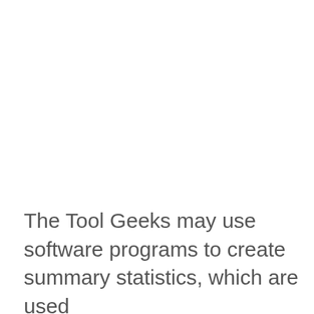The Tool Geeks may use software programs to create summary statistics, which are used